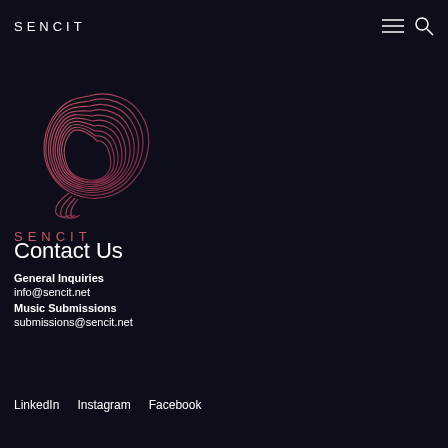SENCIT
[Figure (logo): Sencit brain/topographic spiral logo in pink/rose gradient on dark background, followed by SENCIT text in pink spaced letters]
Contact Us
General Inquiries
info@sencit.net
Music Submissions
submissions@sencit.net
LinkedIn   Instagram   Facebook